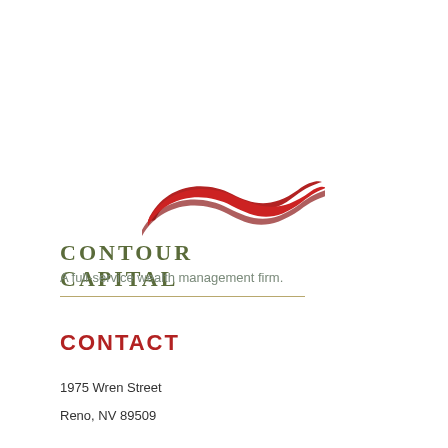[Figure (logo): Contour Capital logo with red wave/ribbon graphic above the company name text]
A full-service wealth management firm.
CONTACT
1975 Wren Street
Reno, NV 89509